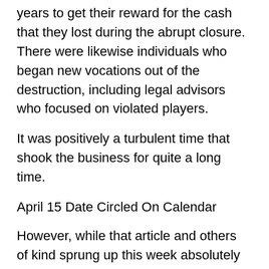years to get their reward for the cash that they lost during the abrupt closure. There were likewise individuals who began new vocations out of the destruction, including legal advisors who focused on violated players.
It was positively a turbulent time that shook the business for quite a long time.
April 15 Date Circled On Calendar
However, while that article and others of kind sprung up this week absolutely nitty gritty the aftermath of that fay, not many of them focused on the recuperation that the business has appreciated as of late.